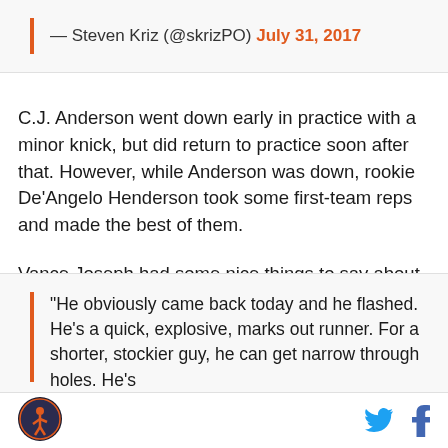— Steven Kriz (@skrizPO) July 31, 2017
C.J. Anderson went down early in practice with a minor knick, but did return to practice soon after that. However, while Anderson was down, rookie De'Angelo Henderson took some first-team reps and made the best of them.
Vance Joseph had some nice things to say about Henderson after today's practice.
“He obviously came back today and he flashed. He’s a quick, explosive, marks out runner. For a shorter, stockier guy, he can get narrow through holes. He’s
[Figure (logo): Sports website logo — circular emblem with athlete figure, orange and navy colors]
[Figure (other): Twitter bird icon (blue) and Facebook f icon (blue)]